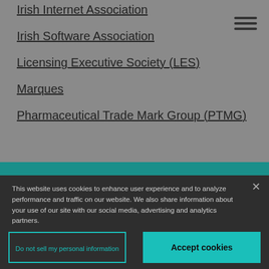Irish Internet Association
Irish Software Association
Licensing Executive Society (LES)
Marques
Pharmaceutical Trade Mark Group (PTMG)
This website uses cookies to enhance user experience and to analyze performance and traffic on our website. We also share information about your use of our site with our social media, advertising and analytics partners.
Do not sell my personal information
Accept cookies